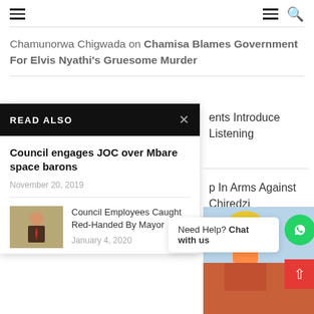Navigation bar with hamburger menu and search icon
Chamunorwa Chigwada on Chamisa Blames Government For Elvis Nyathi’s Gruesome Murder
READ ALSO
Council engages JOC over Mbare space barons
November 20, 2019
Council Employees Caught Red-Handed By Mayor
January 4, 2020
ents Introduce Listening
p In Arms Against Chiredzi
[Figure (photo): Thumbnail image of a person in a suit, likely a council official]
[Figure (photo): Right side image showing construction worker with hard hat and colorful clothing]
Need Help? Chat with us